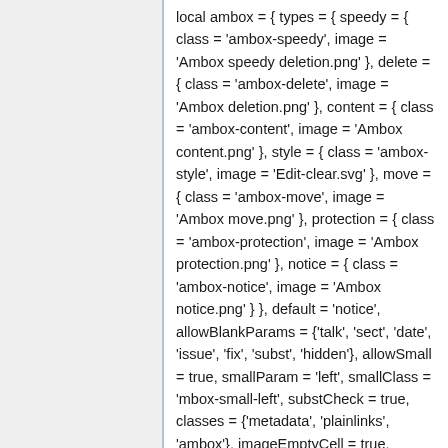local ambox = { types = { speedy = { class = 'ambox-speedy', image = 'Ambox speedy deletion.png' }, delete = { class = 'ambox-delete', image = 'Ambox deletion.png' }, content = { class = 'ambox-content', image = 'Ambox content.png' }, style = { class = 'ambox-style', image = 'Edit-clear.svg' }, move = { class = 'ambox-move', image = 'Ambox move.png' }, protection = { class = 'ambox-protection', image = 'Ambox protection.png' }, notice = { class = 'ambox-notice', image = 'Ambox notice.png' } }, default = 'notice', allowBlankParams = {'talk', 'sect', 'date', 'issue', 'fix', 'subst', 'hidden'}, allowSmall = true, smallParam = 'left', smallClass = 'mbox-small-left', substCheck = true, classes = {'metadata', 'plainlinks', 'ambox'}, imageEmptyCell = true,